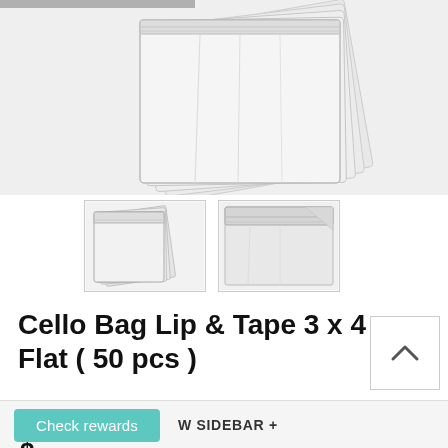[Figure (photo): Main product image showing a stack of clear cellophane/cello bags with lip and tape, displayed fanned out on white background]
[Figure (photo): Thumbnail 1: Clear cello bags fanned out, small product thumbnail]
[Figure (photo): Thumbnail 2: Close-up of cello bag showing lip and tape detail]
Cello Bag Lip & Tape 3 x 4 Flat ( 50 pcs )
W SIDEBAR +
Check rewards